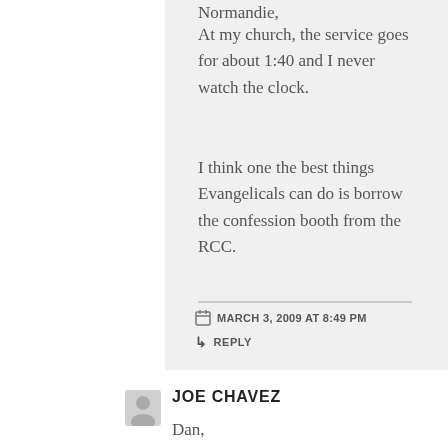Normandie,
At my church, the service goes for about 1:40 and I never watch the clock.
I think one the best things Evangelicals can do is borrow the confession booth from the RCC.
MARCH 3, 2009 AT 8:49 PM
REPLY
JOE CHAVEZ
Dan,